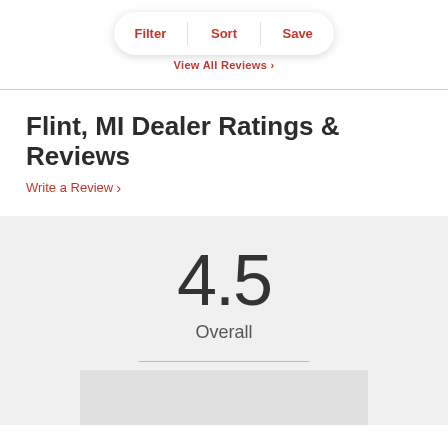Filter | Sort | Save
View All Reviews >
Flint, MI Dealer Ratings & Reviews
Write a Review >
4.5
Overall